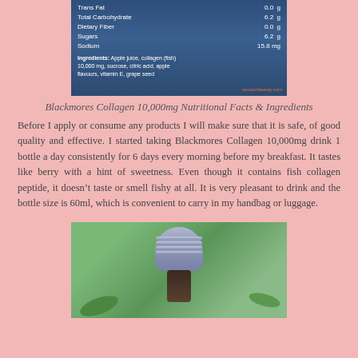[Figure (photo): Nutrition facts and ingredients label of Blackmores Collagen 10,000mg product showing Trans Fat 0.0g, Total Carbohydrate 6.2g, Dietary Fiber 0.0g, Sugars 6.2g, Sodium 15.8mg, and ingredients including Apple juice, collagen (fish) 10,000mg, sucrose, citric acid, apple flavours, vitamin E, grape seed]
Blackmores Collagen 10,000mg Nutritional Facts & Ingredients
Before I apply or consume any products I will make sure that it is safe, of good quality and effective. I started taking Blackmores Collagen 10,000mg drink 1 bottle a day consistently for 6 days every morning before my breakfast. It tastes like berry with a hint of sweetness. Even though it contains fish collagen peptide, it doesn't taste or smell fishy at all. It is very pleasant to drink and the bottle size is 60ml, which is convenient to carry in my handbag or luggage.
[Figure (photo): Photo of a Blackmores Collagen bottle with a blue/purple ridged cap, dark glass bottle neck, against a green grass background with leaves]